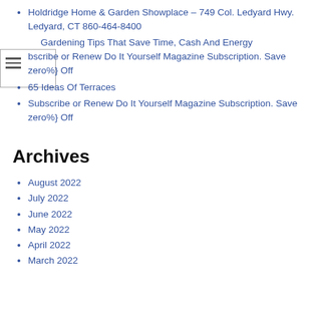Holdridge Home & Garden Showplace – 749 Col. Ledyard Hwy. Ledyard, CT 860-464-8400
Gardening Tips That Save Time, Cash And Energy
bscribe or Renew Do It Yourself Magazine Subscription. Save zero%} Off
65 Ideas Of Terraces
Subscribe or Renew Do It Yourself Magazine Subscription. Save zero%} Off
Archives
August 2022
July 2022
June 2022
May 2022
April 2022
March 2022